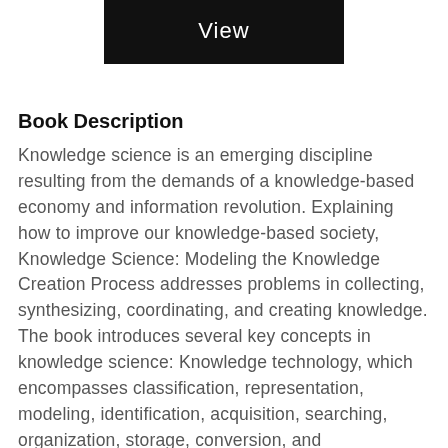[Figure (other): Black rectangle button with white text 'View']
Book Description
Knowledge science is an emerging discipline resulting from the demands of a knowledge-based economy and information revolution. Explaining how to improve our knowledge-based society, Knowledge Science: Modeling the Knowledge Creation Process addresses problems in collecting, synthesizing, coordinating, and creating knowledge. The book introduces several key concepts in knowledge science: Knowledge technology, which encompasses classification, representation, modeling, identification, acquisition, searching, organization, storage, conversion, and dissemination Knowledge management, which covers three different yet related areas (knowledge assets, knowing processes, knower relations) Knowledge discovery and data mining, which combine databases, statistics, machine learning, and related areas to discover and extract valuable